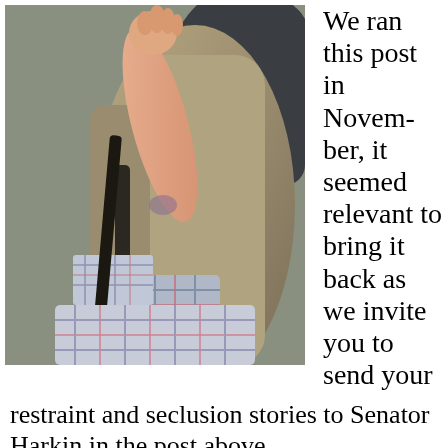[Figure (photo): Child in a car seat, wearing a plaid shirt, arm raised, seated in what appears to be a vehicle interior with beige/gray upholstery. A car seat buckle/clip is visible.]
We ran this post in November, it seemed relevant to bring it back as we invite you to send your restraint and seclusion stories to Senator Harkin in the post above.